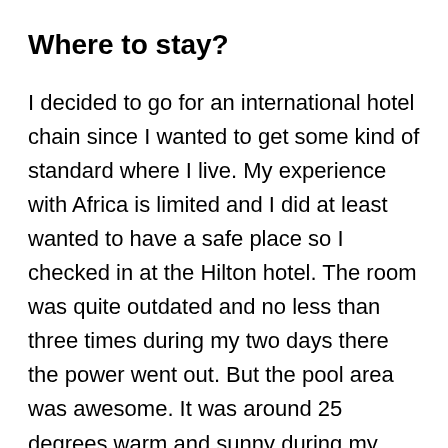Where to stay?
I decided to go for an international hotel chain since I wanted to get some kind of standard where I live. My experience with Africa is limited and I did at least wanted to have a safe place so I checked in at the Hilton hotel. The room was quite outdated and no less than three times during my two days there the power went out. But the pool area was awesome. It was around 25 degrees warm and sunny during my whole stay so I spent most of the time at the pool. Many expats were enjoying the hotel amenities during the weekend. I got a few recommendations